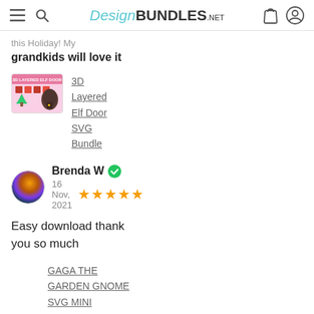DesignBUNDLES.NET
this Holiday! My grandkids will love it
3D Layered Elf Door SVG Bundle
Brenda W  16 Nov, 2021  ★★★★★
Easy download thank you so much
GAGA THE GARDEN GNOME SVG MINI BUNDLE 6 Mandala